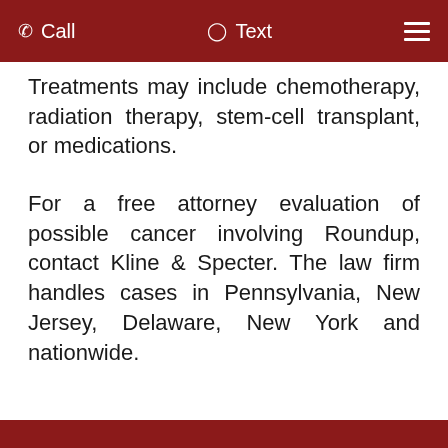Call  Text
Treatments may include chemotherapy, radiation therapy, stem-cell transplant, or medications.
For a free attorney evaluation of possible cancer involving Roundup, contact Kline & Specter. The law firm handles cases in Pennsylvania, New Jersey, Delaware, New York and nationwide.